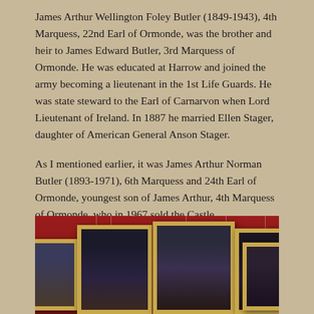James Arthur Wellington Foley Butler (1849-1943), 4th Marquess, 22nd Earl of Ormonde, was the brother and heir to James Edward Butler, 3rd Marquess of Ormonde. He was educated at Harrow and joined the army becoming a lieutenant in the 1st Life Guards. He was state steward to the Earl of Carnarvon when Lord Lieutenant of Ireland. In 1887 he married Ellen Stager, daughter of American General Anson Stager.
As I mentioned earlier, it was James Arthur Norman Butler (1893-1971), 6th Marquess and 24th Earl of Ormonde, youngest son of James Arthur, 4th Marquess of Ormonde, who in 1967 sold the Castle.
[Figure (photo): Photograph of a gallery room with red walls, showing multiple gold-framed portrait paintings hung on the wall. The portraits appear to include historical figures in formal dress.]